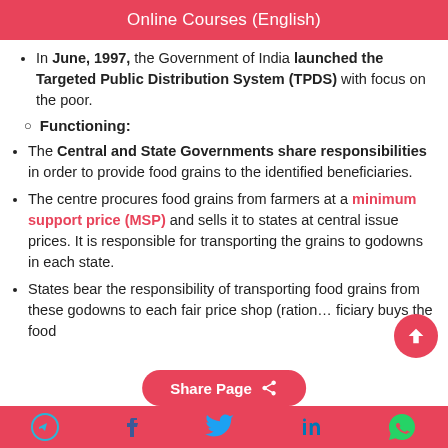Online Courses (English)
In June, 1997, the Government of India launched the Targeted Public Distribution System (TPDS) with focus on the poor.
Functioning:
The Central and State Governments share responsibilities in order to provide food grains to the identified beneficiaries.
The centre procures food grains from farmers at a minimum support price (MSP) and sells it to states at central issue prices. It is responsible for transporting the grains to godowns in each state.
States bear the responsibility of transporting food grains from these godowns to each fair price shop (ration... ficiary buys the food
Share Page